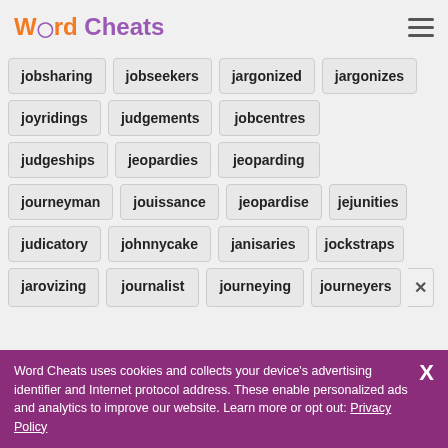Word Cheats
jobsharing
jobseekers
jargonized
jargonizes
joyridings
judgements
jobcentres
judgeships
jeopardies
jeoparding
journeyman
jouissance
jeopardise
jejunities
judicatory
johnnycake
janisaries
jockstraps
jarovizing
journalist
journeying
journeyers
Word Cheats uses cookies and collects your device's advertising identifier and Internet protocol address. These enable personalized ads and analytics to improve our website. Learn more or opt out: Privacy Policy